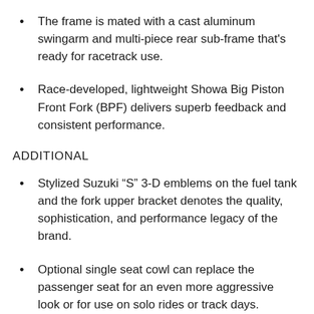The frame is mated with a cast aluminum swingarm and multi-piece rear sub-frame that's ready for racetrack use.
Race-developed, lightweight Showa Big Piston Front Fork (BPF) delivers superb feedback and consistent performance.
ADDITIONAL
Stylized Suzuki “S” 3-D emblems on the fuel tank and the fork upper bracket denotes the quality, sophistication, and performance legacy of the brand.
Optional single seat cowl can replace the passenger seat for an even more aggressive look or for use on solo rides or track days.